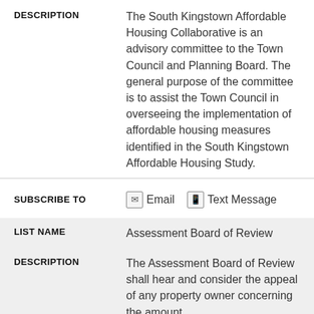DESCRIPTION: The South Kingstown Affordable Housing Collaborative is an advisory committee to the Town Council and Planning Board. The general purpose of the committee is to assist the Town Council in overseeing the implementation of affordable housing measures identified in the South Kingstown Affordable Housing Study.
SUBSCRIBE TO  Email  Text Message
LIST NAME: Assessment Board of Review
DESCRIPTION: The Assessment Board of Review shall hear and consider the appeal of any property owner concerning the amount